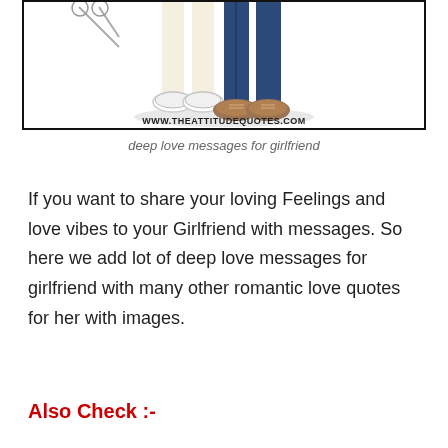[Figure (illustration): Illustration of two people standing together (legs and feet visible), with a white shadow/ellipse beneath them. Text at the bottom reads WWW.THEATTITUDEQUOTES.COM. Shown inside a black border box.]
deep love messages for girlfriend
If you want to share your loving Feelings and love vibes to your Girlfriend with messages. So here we add lot of deep love messages for girlfriend with many other romantic love quotes for her with images.
Also Check :-